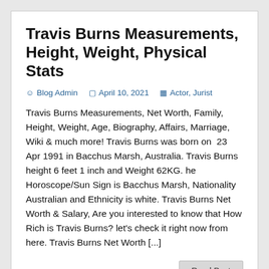Travis Burns Measurements, Height, Weight, Physical Stats
Blog Admin   April 10, 2021   Actor, Jurist
Travis Burns Measurements, Net Worth, Family, Height, Weight, Age, Biography, Affairs, Marriage, Wiki & much more! Travis Burns was born on  23 Apr 1991 in Bacchus Marsh, Australia. Travis Burns height 6 feet 1 inch and Weight 62KG. he Horoscope/Sun Sign is Bacchus Marsh, Nationality Australian and Ethnicity is white. Travis Burns Net Worth & Salary, Are you interested to know that How Rich is Travis Burns? let's check it right now from here. Travis Burns Net Worth [...]
Read Post